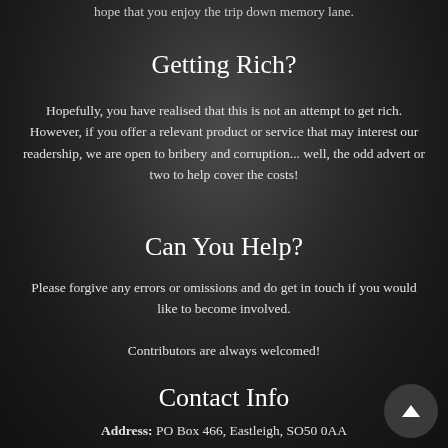hope that you enjoy the trip down memory lane.
Getting Rich?
Hopefully, you have realised that this is not an attempt to get rich. However, if you offer a relevant product or service that may interest our readership, we are open to bribery and corruption... well, the odd advert or two to help cover the costs!
Can You Help?
Please forgive any errors or omissions and do get in touch if you would like to become involved.
Contributors are always welcomed!
Contact Info
Address: PO Box 466, Eastleigh, SO50 0AA